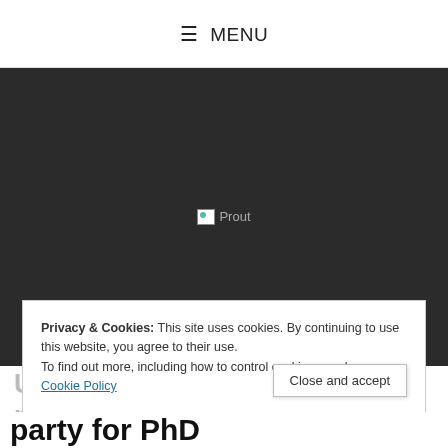≡ MENU
[Figure (photo): Dark hero banner with broken image placeholder showing 'Prout' text]
Privacy & Cookies: This site uses cookies. By continuing to use this website, you agree to their use.
To find out more, including how to control cookies, see here: Cookie Policy
Utrecht PhD Party (UPP): A new political party for PhD